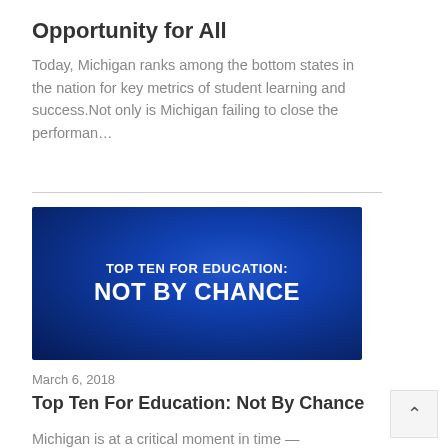Opportunity for All
Today, Michigan ranks among the bottom states in the nation for key metrics of student learning and success.Not only is Michigan failing to close the performan…
[Figure (photo): Blue background image with white bold text reading 'TOP TEN FOR EDUCATION: NOT BY CHANCE']
March 6, 2018
Top Ten For Education: Not By Chance
Michigan is at a critical moment in time —